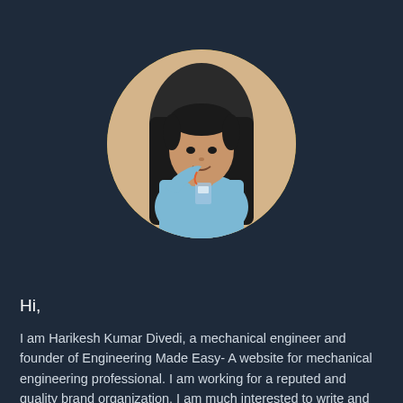[Figure (photo): Circular profile photo of Harikesh Kumar Divedi, a young man seated in a chair with hand on chin, wearing a light blue shirt and ID badge, against a yellow background]
Hi,
I am Harikesh Kumar Divedi, a mechanical engineer and founder of Engineering Made Easy- A website for mechanical engineering professional. I am working for a reputed and quality brand organization, I am much interested to write and discuss engineering articles